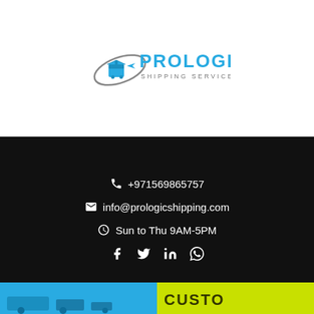[Figure (logo): Pro Logic Shipping Services LLC logo with blue cargo/globe icon and grey orbital ring, blue text PROLOGIC, grey text SHIPPING SERVICES LLC]
📞 +971569865757
✉ info@prologicshipping.com
🕒 Sun to Thu 9AM-5PM
Social icons: Facebook, Twitter, LinkedIn, WhatsApp
[Figure (screenshot): Navigation bar with hamburger menu button, search icon, Quotation button, and cart icon]
[Figure (photo): Bottom image strip showing blue shipping/cargo image on left and yellow-green customs tape on right]